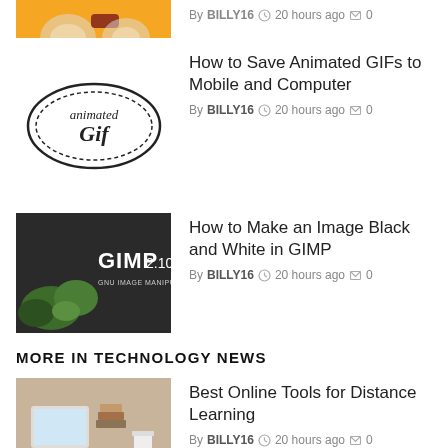[Figure (photo): Partial view of top article thumbnail (orange/emoji style image, cropped at top)]
By BILLY16  20 hours ago  0
[Figure (illustration): Animated Gif logo with circular oval swooshes and cursive text 'animated Gif']
How to Save Animated GIFs to Mobile and Computer
By BILLY16  20 hours ago  0
[Figure (photo): GIMP 2.10 promotional image showing colorful plant/moss on dark background with GIMP 2.10 text overlay]
How to Make an Image Black and White in GIMP
By BILLY16  20 hours ago  0
MORE IN TECHNOLOGY NEWS
[Figure (photo): Photo of laptop, books, and person writing at a desk for distance learning article]
Best Online Tools for Distance Learning
By BILLY16  20 hours ago  0